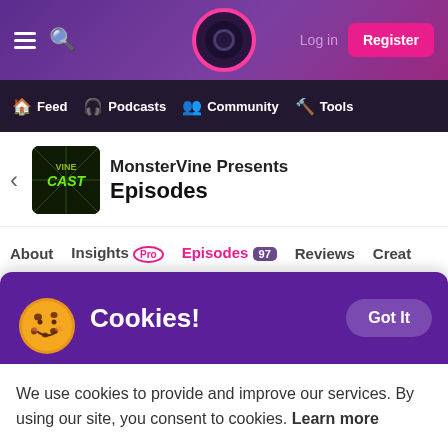Log in  Register
Feed  Podcasts  Community  Tools
MonsterVine Presents Episodes
About  Insights Pro  Episodes 97  Reviews  Creat
Episodes
Cookies!
We use cookies to provide and improve our services. By using our site, you consent to cookies. Learn more